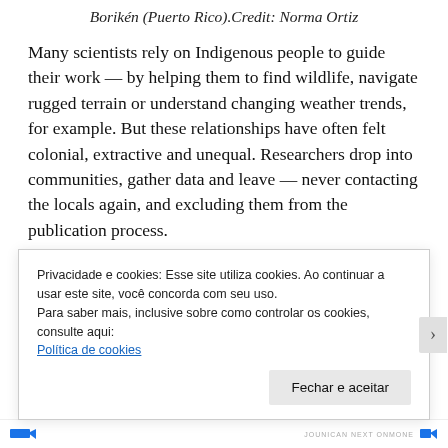Borikén (Puerto Rico).Credit: Norma Ortiz
Many scientists rely on Indigenous people to guide their work — by helping them to find wildlife, navigate rugged terrain or understand changing weather trends, for example. But these relationships have often felt colonial, extractive and unequal. Researchers drop into communities, gather data and leave — never contacting the locals again, and excluding them from the publication process.
Privacidade e cookies: Esse site utiliza cookies. Ao continuar a usar este site, você concorda com seu uso.
Para saber mais, inclusive sobre como controlar os cookies, consulte aqui:
Política de cookies
Fechar e aceitar